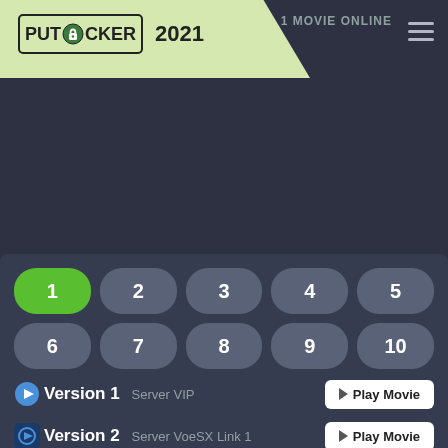[Figure (logo): Putlocker 2021 logo on light green background with hamburger menu and '1 MOVIE ONLINE' text]
1
2
3
4
5
6
7
8
9
10
Version 1   Server VIP   Play Movie
Version 2   Server VoeSX Link 1   Play Movie